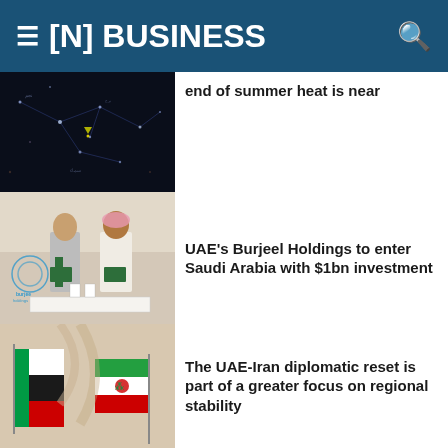[N] BUSINESS
[Figure (photo): Dark night sky star map photo, cropped at top]
end of summer heat is near
[Figure (photo): Two men in formal attire holding green folders at a signing ceremony, Burjeel Holdings logo visible]
UAE's Burjeel Holdings to enter Saudi Arabia with $1bn investment
[Figure (photo): UAE and Iran flags side by side]
The UAE-Iran diplomatic reset is part of a greater focus on regional stability